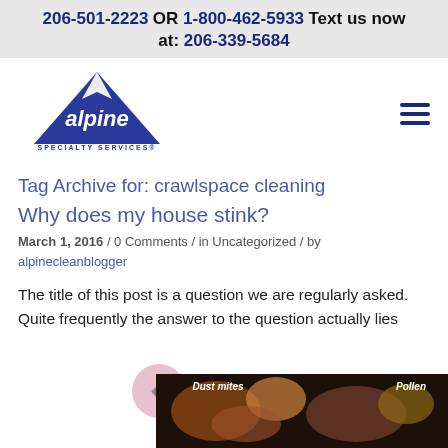206-501-2223 OR 1-800-462-5933 Text us now at: 206-339-5684
[Figure (logo): Alpine Specialty Services logo - blue mountain triangle with white text 'alpine' and 'SPECIALTY SERVICES' below]
Tag Archive for: crawlspace cleaning
Why does my house stink?
March 1, 2016 / 0 Comments / in Uncategorized / by alpinecleanblogger
The title of this post is a question we are regularly asked. Quite frequently the answer to the question actually lies
[Figure (photo): Close-up microscope image with labels 'Dust mites' and 'Pollen']